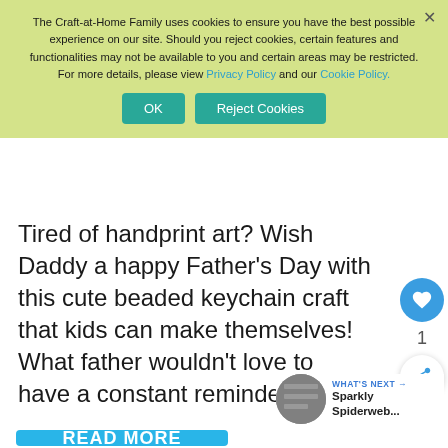The Craft-at-Home Family uses cookies to ensure you have the best possible experience on our site. Should you reject cookies, certain features and functionalities may not be available to you and certain areas may be restricted. For more details, please view Privacy Policy and our Cookie Policy.
Tired of handprint art? Wish Daddy a happy Father's Day with this cute beaded keychain craft that kids can make themselves! What father wouldn't love to have a constant reminder …
WHAT'S NEXT → Sparkly Spiderweb...
READ MORE